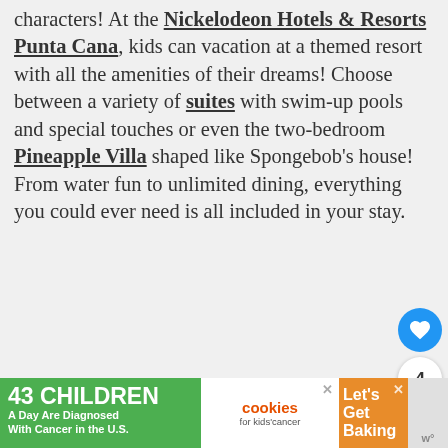characters! At the Nickelodeon Hotels & Resorts Punta Cana, kids can vacation at a themed resort with all the amenities of their dreams! Choose between a variety of suites with swim-up pools and special touches or even the two-bedroom Pineapple Villa shaped like Spongebob's house! From water fun to unlimited dining, everything you could ever need is all included in your stay.
Why The Kids Will Thank You
[Figure (photo): Photo of Nickelodeon blimp/sign against cloudy blue sky]
[Figure (photo): Photo of resort pool area with palm trees]
[Figure (infographic): Advertisement banner: 43 Children A Day Are Diagnosed With Cancer in the U.S. / cookies for kids cancer / Let's Get Baking]